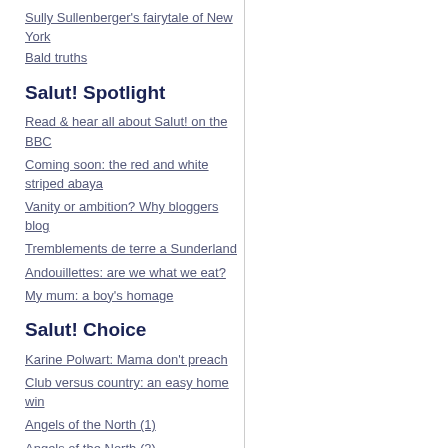Sully Sullenberger's fairytale of New York
Bald truths
Salut! Spotlight
Read & hear all about Salut! on the BBC
Coming soon: the red and white striped abaya
Vanity or ambition? Why bloggers blog
Tremblements de terre a Sunderland
Andouillettes: are we what we eat?
My mum: a boy's homage
Salut! Choice
Karine Polwart: Mama don't preach
Club versus country: an easy home win
Angels of the North (1)
Angels of the North (2)
First job, first records
How one night in Guisborough shattered a dream
Conversations with Kate Rusby
Cults & kidnapping in the Indian